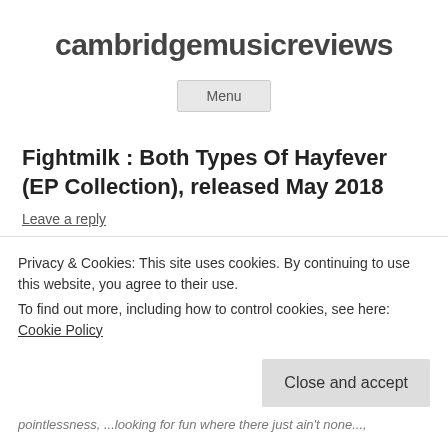cambridgemusicreviews
Menu
Fightmilk : Both Types Of Hayfever (EP Collection), released May 2018
Leave a reply
As a prelude to their forthcoming album punk popsters and
Privacy & Cookies: This site uses cookies. By continuing to use this website, you agree to their use.
To find out more, including how to control cookies, see here: Cookie Policy
Close and accept
pointlessness, ...looking for fun where there just ain't none...,